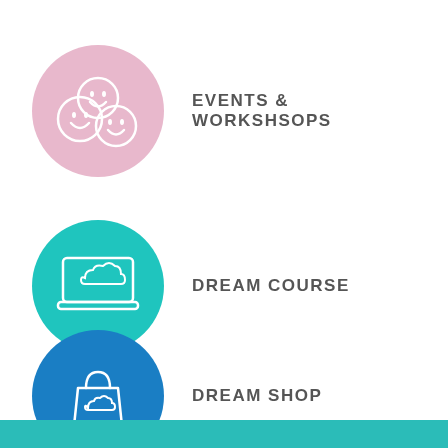[Figure (illustration): Pink circle with three smiley face icons representing events and workshops]
EVENTS & WORKSHSOPS
[Figure (illustration): Teal/cyan circle with laptop and cloud icon representing dream course]
DREAM COURSE
[Figure (illustration): Blue circle with shopping bag and cloud icon representing dream shop]
DREAM SHOP